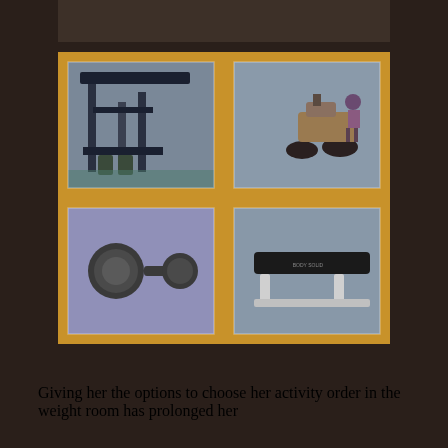[Figure (photo): A photo collage mounted on a golden/tan cardboard background showing four gym/weight room equipment photos: top-left shows a weight machine rack, top-right shows a mobility scooter with a person, bottom-left shows a dumbbell, bottom-right shows a flat weight bench.]
Giving her the options to choose her activity order in the weight room has prolonged her